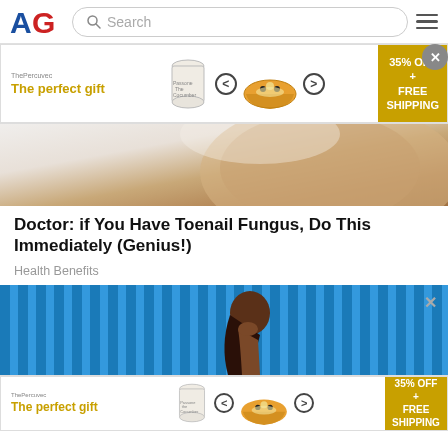AG — Search bar — Menu
[Figure (photo): Advertisement banner: 'The perfect gift' with food bowl imagery, arrows, 35% OFF + FREE SHIPPING promo. Close button (X).]
[Figure (photo): Close-up photo of toenail / foot skin on white background.]
Doctor: if You Have Toenail Fungus, Do This Immediately (Genius!)
Health Benefits
[Figure (photo): Photo of a woman in profile silhouette against blue corrugated wall background. Close (X) button visible.]
[Figure (photo): Advertisement banner (bottom): 'The perfect gift' with food bowl imagery, arrows, 35% OFF + FREE SHIPPING promo.]